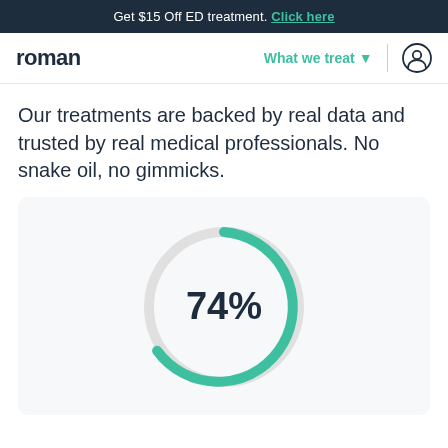Get $15 Off ED treatment. Click here
[Figure (infographic): Roman website navigation bar with logo 'roman', 'What we treat' dropdown, separator, and user account icon]
Our treatments are backed by real data and trusted by real medical professionals. No snake oil, no gimmicks.
[Figure (donut-chart): Donut/arc chart showing 74% in teal green, approximately 270 degrees of arc filled]